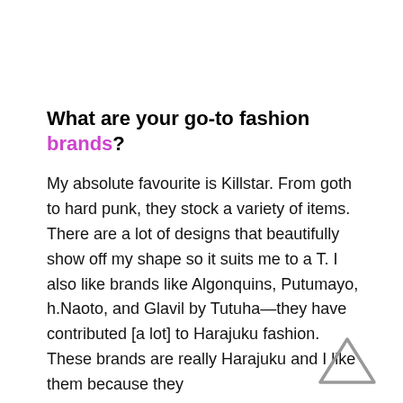What are your go-to fashion brands?
My absolute favourite is Killstar. From goth to hard punk, they stock a variety of items. There are a lot of designs that beautifully show off my shape so it suits me to a T. I also like brands like Algonquins, Putumayo, h.Naoto, and Glavil by Tutuha—they have contributed [a lot] to Harajuku fashion. These brands are really Harajuku and I like them because they